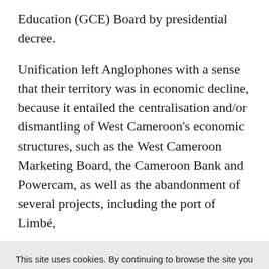Education (GCE) Board by presidential decree.
Unification left Anglophones with a sense that their territory was in economic decline, because it entailed the centralisation and/or dismantling of West Cameroon's economic structures, such as the West Cameroon Marketing Board, the Cameroon Bank and Powercam, as well as the abandonment of several projects, including the port of Limbé,
This site uses cookies. By continuing to browse the site you are agreeing to our use of cookies. Review our privacy policy for more details.
YES, I AGREE